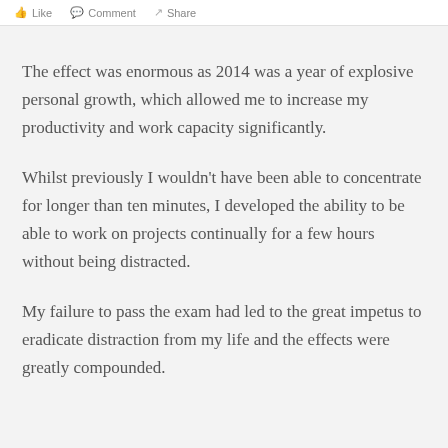Like   Comment   Share
The effect was enormous as 2014 was a year of explosive personal growth, which allowed me to increase my productivity and work capacity significantly.
Whilst previously I wouldn't have been able to concentrate for longer than ten minutes, I developed the ability to be able to work on projects continually for a few hours without being distracted.
My failure to pass the exam had led to the great impetus to eradicate distraction from my life and the effects were greatly compounded.